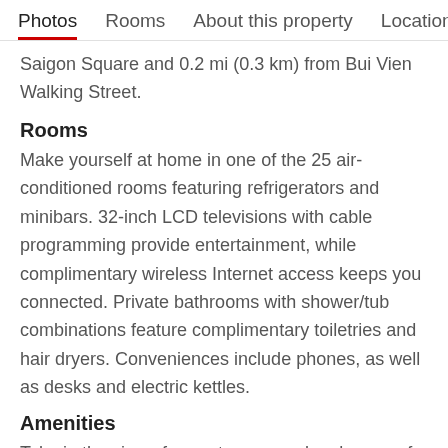Photos  Rooms  About this property  Location
Saigon Square and 0.2 mi (0.3 km) from Bui Vien Walking Street.
Rooms
Make yourself at home in one of the 25 air-conditioned rooms featuring refrigerators and minibars. 32-inch LCD televisions with cable programming provide entertainment, while complimentary wireless Internet access keeps you connected. Private bathrooms with shower/tub combinations feature complimentary toiletries and hair dryers. Conveniences include phones, as well as desks and electric kettles.
Amenities
Take in the views from a terrace and make use of